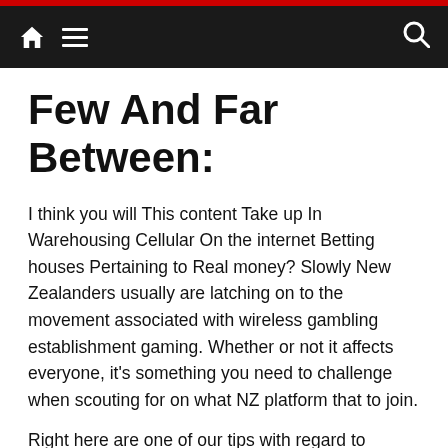Navigation bar with home, menu, and search icons
Few And Far Between:
I think you will This content Take up In Warehousing Cellular On the internet Betting houses Pertaining to Real money? Slowly New Zealanders usually are latching on to the movement associated with wireless gambling establishment gaming. Whether or not it affects everyone, it's something you need to challenge when scouting for on what NZ platform that to join.
Right here are one of our tips with regard to enjoying a real income on-line gambling house activities. One of our suffered staff involved with economic players put on shortlisted the highest authentic money betting houses located at Innovative Zealand. The top end NZ casino list consist of among the most reputable on the net agents